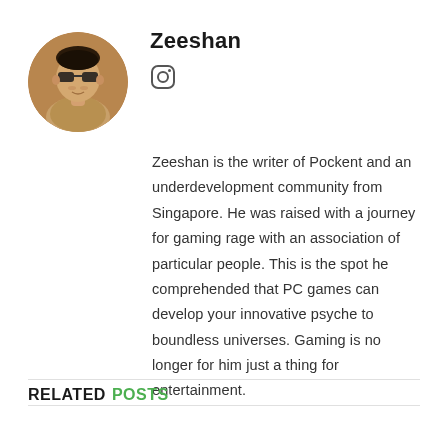[Figure (photo): Circular profile photo of Zeeshan, a young man wearing sunglasses, outdoors]
Zeeshan
[Figure (logo): Instagram icon (camera outline)]
Zeeshan is the writer of Pockent and an underdevelopment community from Singapore. He was raised with a journey for gaming rage with an association of particular people. This is the spot he comprehended that PC games can develop your innovative psyche to boundless universes. Gaming is no longer for him just a thing for entertainment.
RELATED POSTS